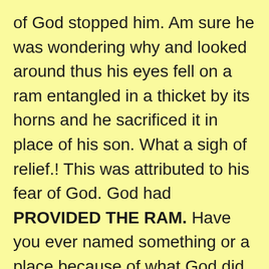of God stopped him. Am sure he was wondering why and looked around thus his eyes fell on a ram entangled in a thicket by its horns and he sacrificed it in place of his son. What a sigh of relief.! This was attributed to his fear of God. God had PROVIDED THE RAM. Have you ever named something or a place because of what God did for you? This can be a constant reminder and it can help to shape your life and character. Up till to